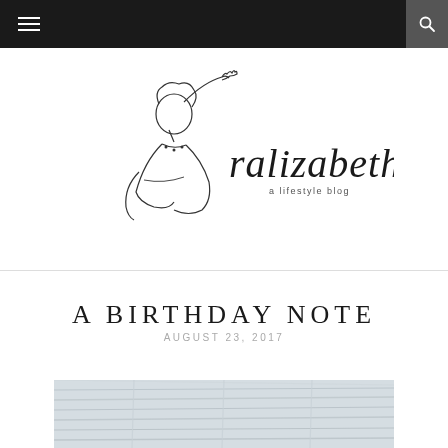Navigation bar with hamburger menu and search icon
[Figure (logo): Ralizabeth lifestyle blog logo — line-art illustration of a woman with hand raised, beside cursive 'ralizabeth' text and 'a lifestyle blog' subtitle]
A BIRTHDAY NOTE
AUGUST 23, 2017
[Figure (photo): Partial view of a light-toned architectural or interior photo, slightly cropped at the bottom of the page]